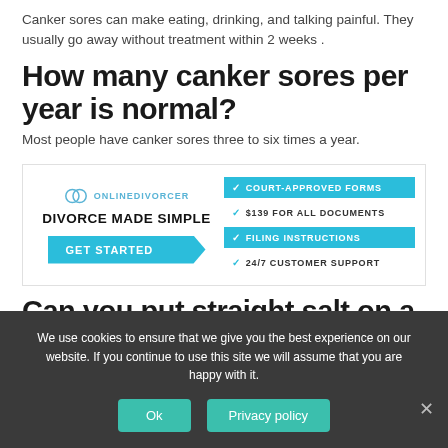Canker sores can make eating, drinking, and talking painful. They usually go away without treatment within 2 weeks .
How many canker sores per year is normal?
Most people have canker sores three to six times a year.
[Figure (infographic): Online Divorcer advertisement banner with logo, 'DIVORCE MADE SIMPLE' text, 'GET STARTED' button, and feature list: COURT-APPROVED FORMS, $139 FOR ALL DOCUMENTS, FILING INSTRUCTIONS, 24/7 CUSTOMER SUPPORT]
Can you put straight salt on a
We use cookies to ensure that we give you the best experience on our website. If you continue to use this site we will assume that you are happy with it.